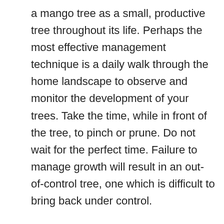a mango tree as a small, productive tree throughout its life. Perhaps the most effective management technique is a daily walk through the home landscape to observe and monitor the development of your trees. Take the time, while in front of the tree, to pinch or prune. Do not wait for the perfect time. Failure to manage growth will result in an out-of-control tree, one which is difficult to bring back under control.
Remember, management starts early in the life of the tree and continues indefinitely.
http://www.virtualherbarium.org/TropicalFruit/mango
13 Jan 2013.